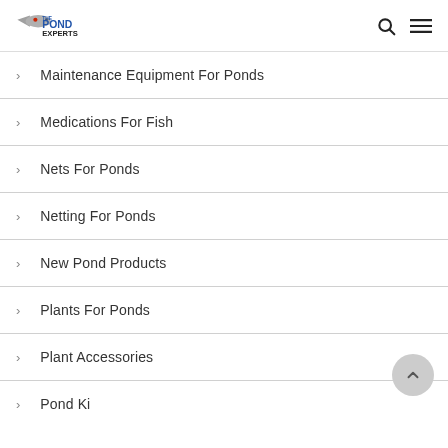The Pond Experts
Maintenance Equipment For Ponds
Medications For Fish
Nets For Ponds
Netting For Ponds
New Pond Products
Plants For Ponds
Plant Accessories
Pond Ki...